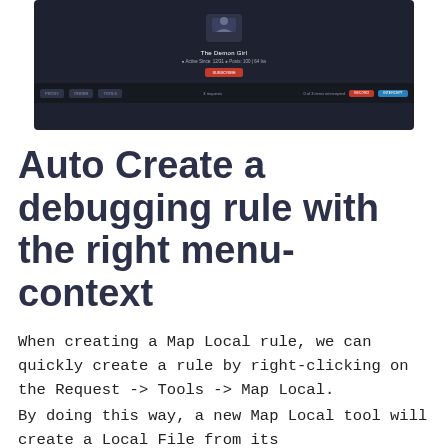[Figure (screenshot): Screenshot of a dark-themed web application interface showing a user profile area, a red button, and a navigation/status bar at the bottom with pills and buttons.]
Auto Create a debugging rule with the right menu-context
When creating a Map Local rule, we can quickly create a rule by right-clicking on the Request -> Tools -> Map Local.
By doing this way, a new Map Local tool will create a Local File from its